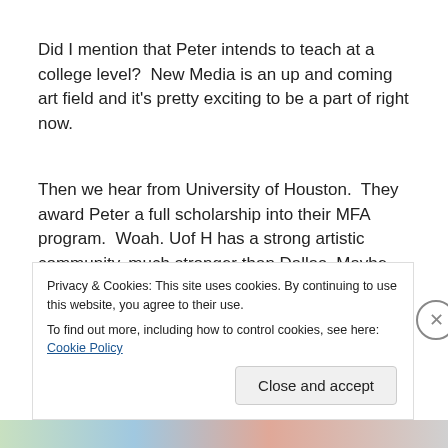Did I mention that Peter intends to teach at a college level?  New Media is an up and coming art field and it's pretty exciting to be a part of right now.
Then we hear from University of Houston.  They award Peter a full scholarship into their MFA program.  Woah.  Uof H has a strong artistic community, much stronger than Dallas. Maybe we should think about this.
Then the deadline to let SMU know if we were accepting
Privacy & Cookies: This site uses cookies. By continuing to use this website, you agree to their use.
To find out more, including how to control cookies, see here: Cookie Policy
Close and accept